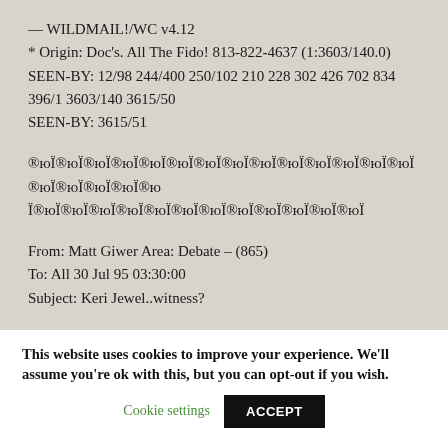— WILDMAIL!/WC v4.12
* Origin: Doc's. All The Fido! 813-822-4637 (1:3603/140.0)
SEEN-BY: 12/98 244/400 250/102 210 228 302 426 702 834 396/1 3603/140 3615/50
SEEN-BY: 3615/51
®юЇ®юЇ®юЇ®юЇ®юЇ®юЇ®юЇ®юЇ®юЇ®юЇ®юЇ®юЇ®юЇ®юЇ®юЇ®юЇ®юЇ®юЇ®ю Ї®юЇ®юЇ®юЇ®юЇ®юЇ®юЇ®юЇ®юЇ®юЇ®юЇ®юЇ®юЇ
From: Matt Giwer Area: Debate – (865)
To: All 30 Jul 95 03:30:00
Subject: Keri Jewel..witness?
This website uses cookies to improve your experience. We'll assume you're ok with this, but you can opt-out if you wish.
Cookie settings
ACCEPT